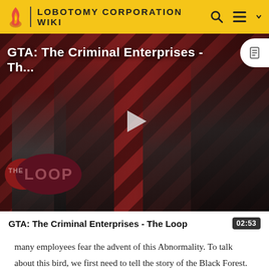LOBOTOMY CORPORATION WIKI
[Figure (screenshot): Video thumbnail for 'GTA: The Criminal Enterprises - Th...' showing game characters on diagonal red and black striped background with a play button overlay and 'THE LOOP' logo in the lower left. A document icon appears in the upper right corner.]
GTA: The Criminal Enterprises - The Loop
many employees fear the advent of this Abnormality. To talk about this bird, we first need to tell the story of the Black Forest. We must remember the forest that